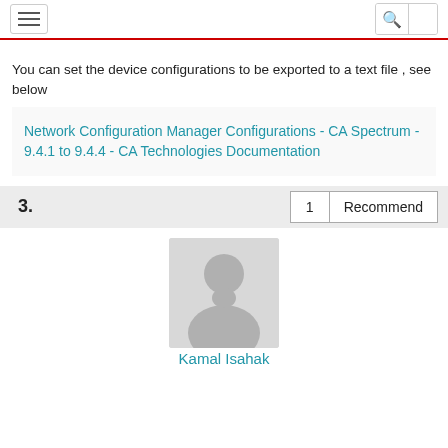Navigation bar with hamburger menu and search icon
You can set the device configurations to be exported to a text file , see below
Network Configuration Manager Configurations - CA Spectrum - 9.4.1 to 9.4.4 - CA Technologies Documentation
3.   1   Recommend
[Figure (photo): Generic user avatar silhouette placeholder image]
Kamal Isahak